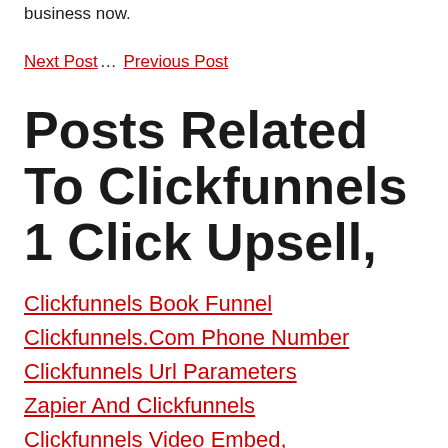business now.
Next Post… Previous Post
Posts Related To Clickfunnels 1 Click Upsell,
Clickfunnels Book Funnel
Clickfunnels.Com Phone Number
Clickfunnels Url Parameters
Zapier And Clickfunnels
Clickfunnels Video Embed,
Clickfunnels Affiliate Bootcamp
Clickfunnels Review,